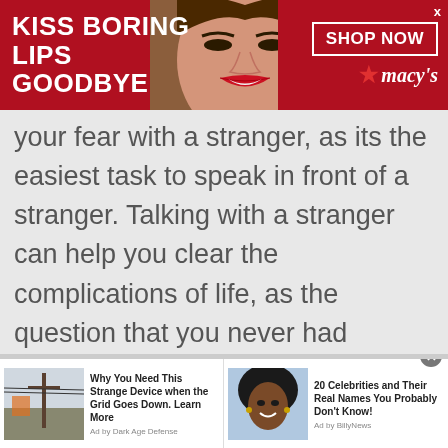[Figure (screenshot): Advertisement banner for Macy's with red background, woman's face with red lips in center, text 'KISS BORING LIPS GOODBYE' on left, 'SHOP NOW' button and Macy's logo with star on right]
your fear with a stranger, as its the easiest task to speak in front of a stranger. Talking with a stranger can help you clear the complications of life, as the question that you never had answer for could have been answered by someone else already.
[Figure (screenshot): Bottom advertisement strip with two ad items: 1) Photo of power lines with text 'Why You Need This Strange Device when the Grid Goes Down. Learn More' - Ad by Dark Age Defense; 2) Photo of woman with text '20 Celebrities and Their Real Names You Probably Don't Know!' - Ad by BillyNews]